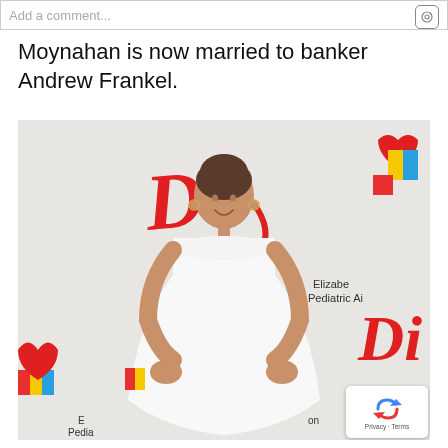Add a comment...
Moynahan is now married to banker Andrew Frankel.
[Figure (photo): A pregnant woman in a white strapless dress smiling at a Disney event with colorful backdrop logos including Disney and text reading 'Elizabeth Pediatric Aid']